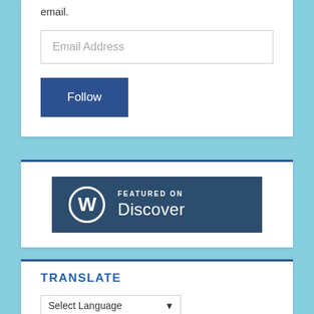email.
[Figure (screenshot): Email Address input field (text input box with placeholder text 'Email Address')]
[Figure (screenshot): Follow button — dark blue rectangle with white text 'Follow']
[Figure (logo): WordPress 'Featured on Discover' badge — dark blue/slate background with WordPress logo (W in circle) and text 'FEATURED ON Discover']
TRANSLATE
[Figure (screenshot): Language selector dropdown with 'Select Language' and a dropdown arrow]
Powered by Google Translate